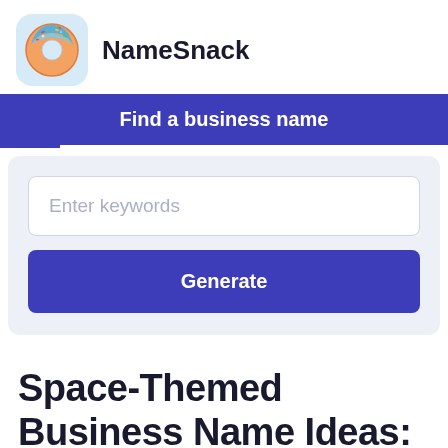[Figure (logo): NameSnack logo: a donut icon with blue/teal frosting and sprinkles on a light blue rounded square background]
NameSnack
Find a business name
Enter keywords
Generate
Space-Themed Business Name Ideas: